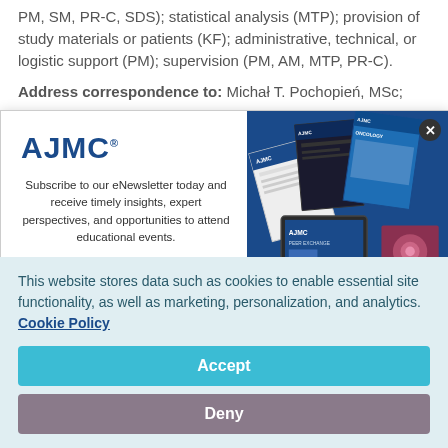PM, SM, PR-C, SDS); statistical analysis (MTP); provision of study materials or patients (KF); administrative, technical, or logistic support (PM); supervision (PM, AM, MTP, PR-C).
Address correspondence to: Michał T. Pochopień, MSc;
[Figure (screenshot): AJMC newsletter subscription modal with logo, subscription text, First Name and Last Name input fields, and magazine imagery on the right side]
This website stores data such as cookies to enable essential site functionality, as well as marketing, personalization, and analytics. Cookie Policy
Accept
Deny